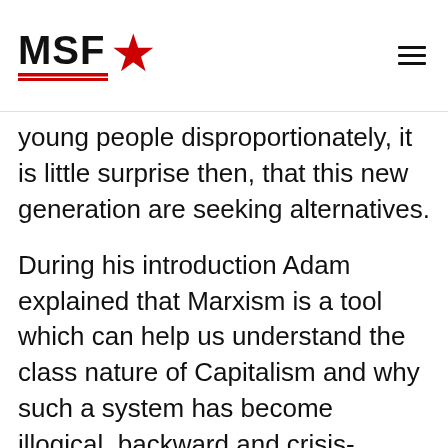MSF★
young people disproportionately, it is little surprise then, that this new generation are seeking alternatives.
During his introduction Adam explained that Marxism is a tool which can help us understand the class nature of Capitalism and why such a system has become illogical, backward and crisis-ridden. Capitalism is struggling to cope under the weight of its own contradictions. All over the world the economy continues to fail, no longer able to